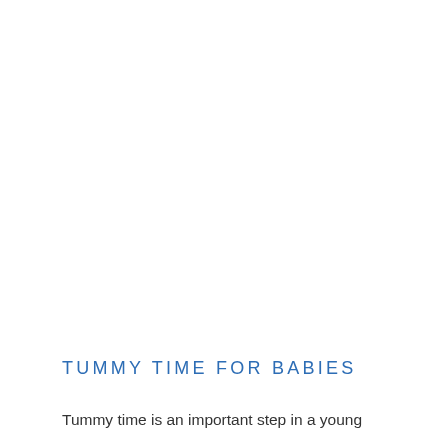TUMMY TIME FOR BABIES
Tummy time is an important step in a young